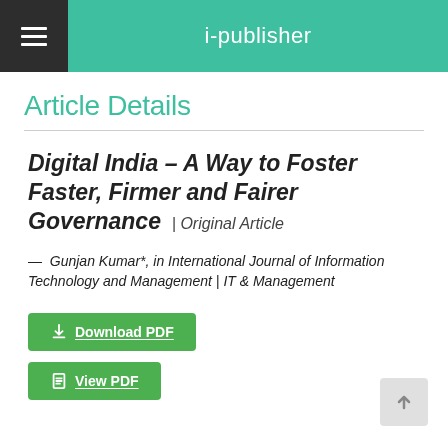i-publisher
Article Details
Digital India – A Way to Foster Faster, Firmer and Fairer Governance | Original Article
— Gunjan Kumar*, in International Journal of Information Technology and Management | IT & Management